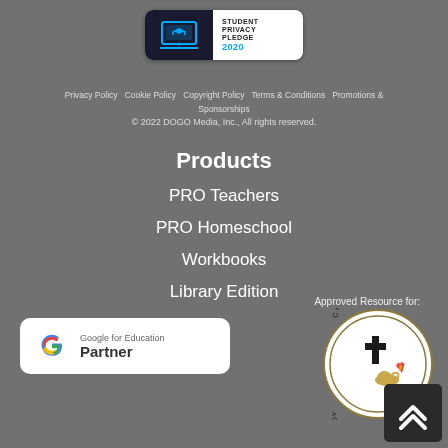[Figure (logo): Student Privacy Pledge 2020 badge with laptop icon on dark background]
Privacy Policy  Cookie Policy  Copyright Policy  Terms & Conditions  Promotions & Sponsorships
© 2022 DOGO Media, Inc., All rights reserved.
Products
PRO Teachers
PRO Homeschool
Workbooks
Library Edition
Approved Resource for:
[Figure (logo): Google for Education Partner badge]
[Figure (logo): Catholic Schools Academic Junior High Decathlon seal]